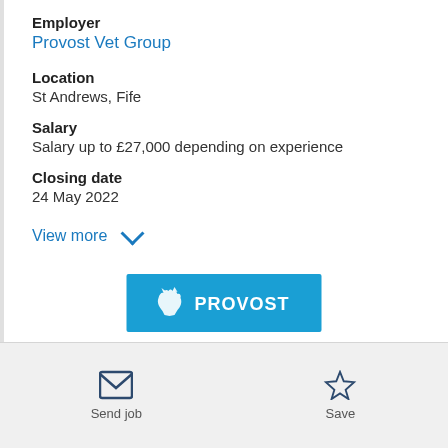Employer
Provost Vet Group
Location
St Andrews, Fife
Salary
Salary up to £27,000 depending on experience
Closing date
24 May 2022
View more
[Figure (logo): Provost Vet Group blue banner logo with white cat/animal silhouette and PROVOST text]
Send job
Save